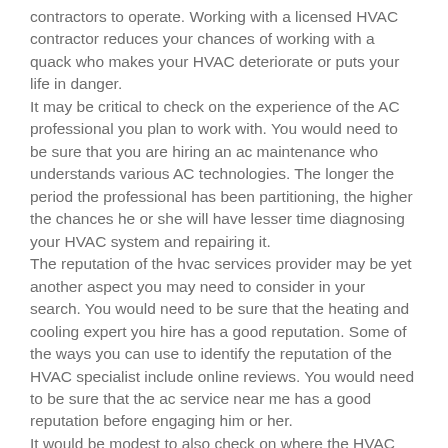contractors to operate. Working with a licensed HVAC contractor reduces your chances of working with a quack who makes your HVAC deteriorate or puts your life in danger.
It may be critical to check on the experience of the AC professional you plan to work with. You would need to be sure that you are hiring an ac maintenance who understands various AC technologies. The longer the period the professional has been partitioning, the higher the chances he or she will have lesser time diagnosing your HVAC system and repairing it.
The reputation of the hvac services provider may be yet another aspect you may need to consider in your search. You would need to be sure that the heating and cooling expert you hire has a good reputation. Some of the ways you can use to identify the reputation of the HVAC specialist include online reviews. You would need to be sure that the ac service near me has a good reputation before engaging him or her.
It would be modest to also check on where the HVAC contractor is based. With that in mind, you may need to go for an hvac service near me that can always attend to you when you call them at a time of distress. You would also need to make sure that the heating and air conditioning repair company you plan to work with ensures professionalism when handling their clients. It would be critical to ensure that the heating and air conditioning you plan to work with